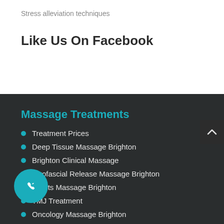Stress alleviation techniques
Like Us On Facebook
Massage Treatments
Treatment Prices
Deep Tissue Massage Brighton
Brighton Clinical Massage
Myofascial Release Massage Brighton
Sports Massage Brighton
TMJ Treatment
Oncology Massage Brighton